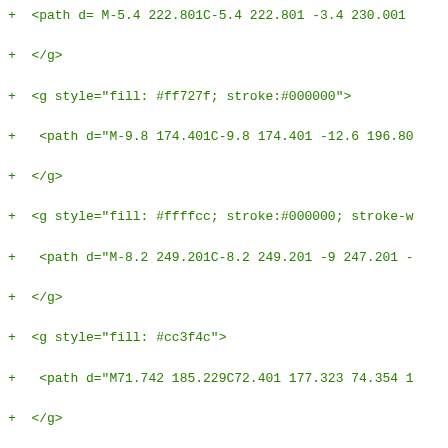Diff/code listing showing SVG path element additions with fill and stroke styles